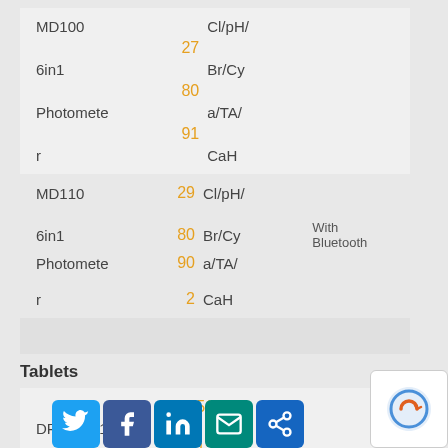| Product | Price | Description | Extra |
| --- | --- | --- | --- |
| MD100 | 27 | Cl/pH/ |  |
| 6in1 | 80 | Br/Cy |  |
| Photometer | 91 | a/TA/CaH |  |
| Product | Price | Description | Extra |
| --- | --- | --- | --- |
| MD110 | 29 | Cl/pH/ |  |
| 6in1 | 80 | Br/Cy | With Bluetooth |
| Photometer | 90 | a/TA/ |  |
| r | 2 | CaH |  |
Tablets
| Product | Sub | Price | Description |
| --- | --- | --- | --- |
| DPD | No1 | 51 |  |
|  |  | 13 |  |